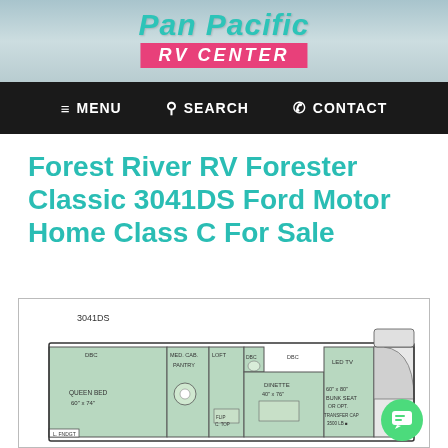Pan Pacific RV CENTER
≡ MENU  🔍 SEARCH  📞 CONTACT
Forest River RV Forester Classic 3041DS Ford Motor Home Class C For Sale
[Figure (engineering-diagram): Floor plan schematic of the Forest River RV Forester Classic 3041DS showing layout with Queen Bed, Med. Cabinet, Pantry, Loft, Dinette 40" x 76", LED TV, Bunk Seat, and Cab area. Labeled 3041DS.]